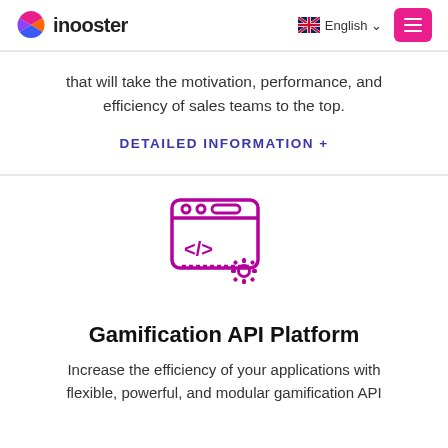inooster | English
that will take the motivation, performance, and efficiency of sales teams to the top.
DETAILED INFORMATION +
[Figure (illustration): Purple icon of a web browser/API window with code tags and a gear/settings cog symbol]
Gamification API Platform
Increase the efficiency of your applications with flexible, powerful, and modular gamification API